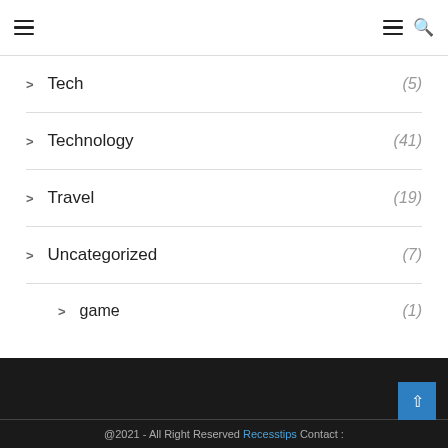Navigation header with hamburger menu and search icon
Tech (5)
Technology (41)
Travel (19)
Uncategorized (7)
game (1)
@2021 - All Right Reserved Recesstips Contact :